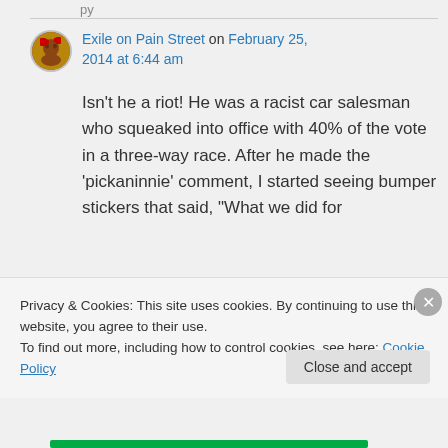Exile on Pain Street on February 25, 2014 at 6:44 am
Isn't he a riot! He was a racist car salesman who squeaked into office with 40% of the vote in a three-way race. After he made the 'pickaninnie' comment, I started seeing bumper stickers that said, “What we did for
Privacy & Cookies: This site uses cookies. By continuing to use this website, you agree to their use.
To find out more, including how to control cookies, see here: Cookie Policy
Close and accept